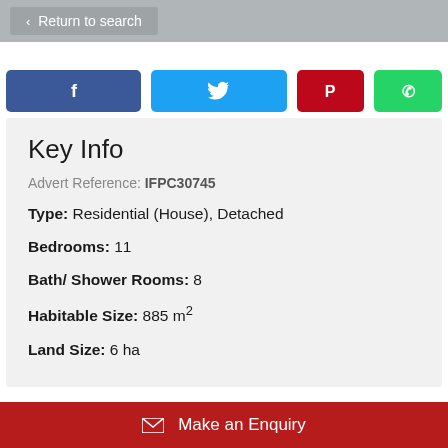< Return to search
[Figure (screenshot): Social sharing buttons: Facebook (dark blue), Twitter (light blue), Pinterest (red), WhatsApp (green)]
Key Info
Advert Reference: IFPC30745
Type: Residential (House), Detached
Bedrooms: 11
Bath/ Shower Rooms: 8
Habitable Size: 885 m²
Land Size: 6 ha
Make an Enquiry